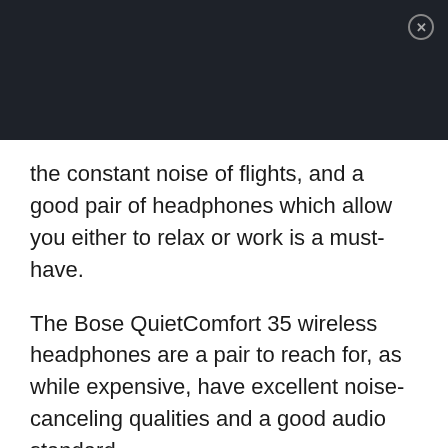[Figure (other): Dark header bar with close (X) button in top-right corner]
the constant noise of flights, and a good pair of headphones which allow you either to relax or work is a must-have.
The Bose QuietComfort 35 wireless headphones are a pair to reach for, as while expensive, have excellent noise-canceling qualities and a good audio standard.
Price: $329.99 (£279.99)
Via: Amazon US | UK